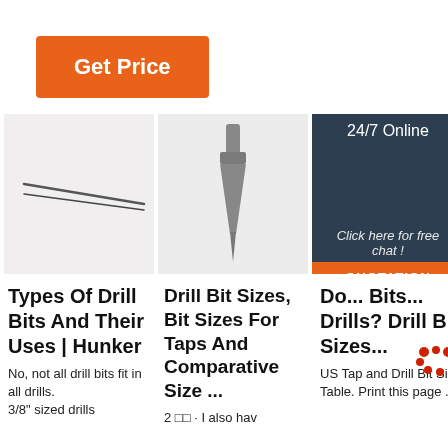[Figure (other): Orange 'Get Price' button]
[Figure (photo): Two thin drill bits crossing on white background]
[Figure (photo): Center drill bit standing upright on white background]
[Figure (photo): Customer service woman with headset, 24/7 Online chat panel overlay]
Types Of Drill Bits And Their Uses | Hunker
Drill Bit Sizes, Bit Sizes For Taps And Comparative Size ...
Do... Bits... Drills? Drill Bit Sizes...
No, not all drill bits fit in all drills. 3/8" sized drills
2 □□ · I also hav
US Tap and Drill Bit Size Table. Print this page . Ta